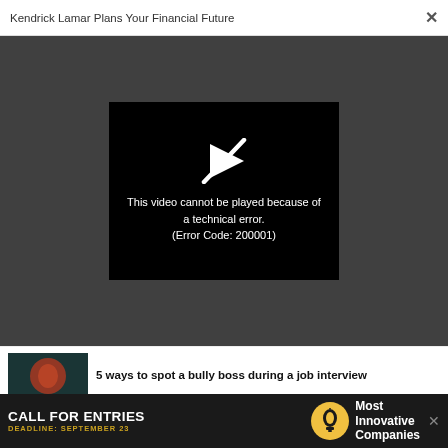Kendrick Lamar Plans Your Financial Future ×
[Figure (screenshot): Video player error screen on dark grey background. Black rectangle with a crossed-out play icon and white text: 'This video cannot be played because of a technical error. (Error Code: 200001)']
This video cannot be played because of a technical error. (Error Code: 200001)
5 ways to spot a bully boss during a job interview
LEADERSHIP
3 questions interviewers hope you
CALL FOR ENTRIES  DEADLINE: SEPTEMBER 23  Most Innovative Companies